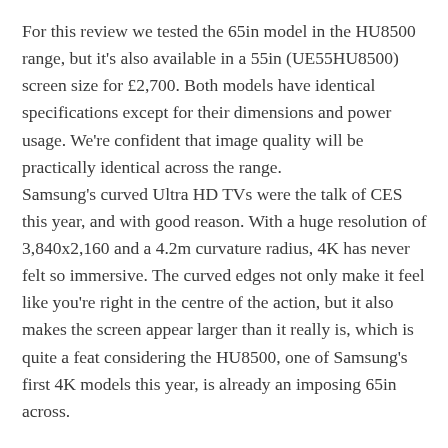For this review we tested the 65in model in the HU8500 range, but it's also available in a 55in (UE55HU8500) screen size for £2,700. Both models have identical specifications except for their dimensions and power usage. We're confident that image quality will be practically identical across the range. Samsung's curved Ultra HD TVs were the talk of CES this year, and with good reason. With a huge resolution of 3,840x2,160 and a 4.2m curvature radius, 4K has never felt so immersive. The curved edges not only make it feel like you're right in the centre of the action, but it also makes the screen appear larger than it really is, which is quite a feat considering the HU8500, one of Samsung's first 4K models this year, is already an imposing 65in across.